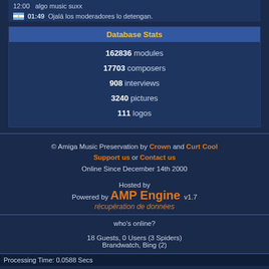12:00   algo music suxx
01:49  Ojalá los moderadores lo detengan.
Database Stats
162836 modules
17703 composers
908 interviews
3240 pictures
111 logos
© Amiga Music Preservation by Crown and Curt Cool Support us or Contact us
Online Since December 14th 2000
Hosted by
Powered by AMP Engine  v1.7
récupération de données
who's online?
18 Guests, 0 Users (3 Spiders)
Brandwatch, Bing (2)
Processing Time: 0.0588 Secs